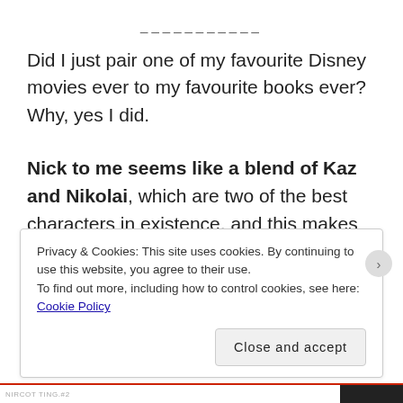___________
Did I just pair one of my favourite Disney movies ever to my favourite books ever? Why, yes I did.
Nick to me seems like a blend of Kaz and Nikolai, which are two of the best characters in existence, and this makes Nick one of the best characters in existence too (wow. incredible logic rachel). I mean, look at that scene I've put a picture of and tell me that's not Nikolai's smug grin pasted on Nick's face. Then look at that quote beside the picture and tell me
Privacy & Cookies: This site uses cookies. By continuing to use this website, you agree to their use.
To find out more, including how to control cookies, see here: Cookie Policy
Close and accept